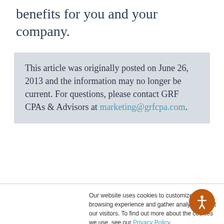benefits for you and your company.
This article was originally posted on June 26, 2013 and the information may no longer be current. For questions, please contact GRF CPAs & Advisors at marketing@grfcpa.com.
Our website uses cookies to customize your browsing experience and gather analytics about our visitors. To find out more about the cookies we use, see our Privacy Policy.

If you decline, a single cookie will be used in your browser to remember your preference not to be tracked.